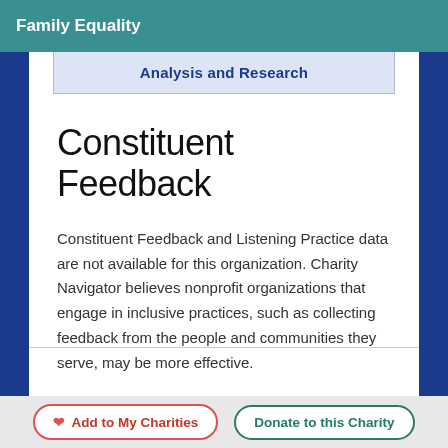Family Equality
Analysis and Research
Constituent Feedback
Constituent Feedback and Listening Practice data are not available for this organization. Charity Navigator believes nonprofit organizations that engage in inclusive practices, such as collecting feedback from the people and communities they serve, may be more effective.
Add to My Charities  Donate to this Charity